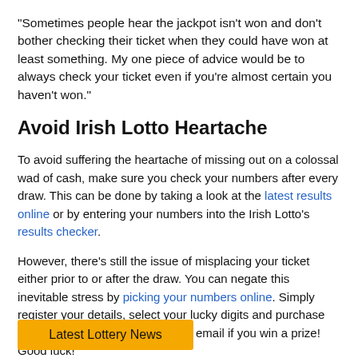“Sometimes people hear the jackpot isn’t won and don’t bother checking their ticket when they could have won at least something. My one piece of advice would be to always check your ticket even if you’re almost certain you haven't won.”
Avoid Irish Lotto Heartache
To avoid suffering the heartache of missing out on a colossal wad of cash, make sure you check your numbers after every draw. This can be done by taking a look at the latest results online or by entering your numbers into the Irish Lotto’s results checker.
However, there’s still the issue of misplacing your ticket either prior to or after the draw. You can negate this inevitable stress by picking your numbers online. Simply register your details, select your lucky digits and purchase your entry; you’ll even receive an email if you win a prize! Good luck!
Latest Lottery News